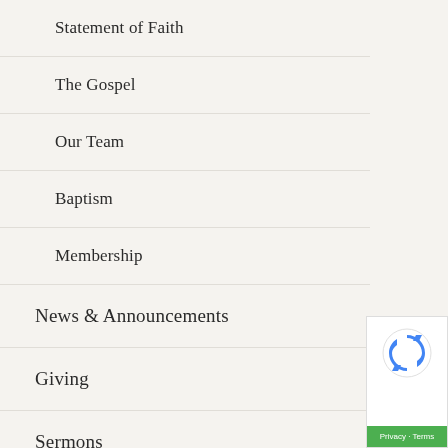Statement of Faith
The Gospel
Our Team
Baptism
Membership
News & Announcements
Giving
Sermons
All Sermons
Iranian Fellowship
[Figure (logo): reCAPTCHA badge with blue reCAPTCHA icon and green footer bar with Privacy and Terms text]